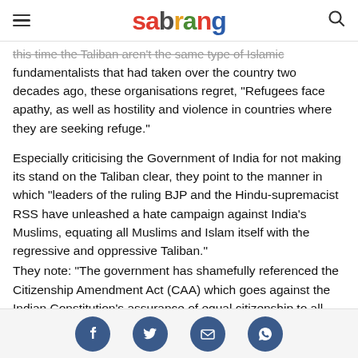sabrang
this time the Taliban aren't the same type of Islamic fundamentalists that had taken over the country two decades ago, these organisations regret, "Refugees face apathy, as well as hostility and violence in countries where they are seeking refuge."
Especially criticising the Government of India for not making its stand on the Taliban clear, they point to the manner in which "leaders of the ruling BJP and the Hindu-supremacist RSS have unleashed a hate campaign against India's Muslims, equating all Muslims and Islam itself with the regressive and oppressive Taliban."
They note: "The government has shamefully referenced the Citizenship Amendment Act (CAA) which goes against the Indian Constitution's assurance of equal citizenship to all irrespective of faith or other factors, and announced that it
[Figure (other): Social media share buttons: Facebook, Twitter, Email, WhatsApp]